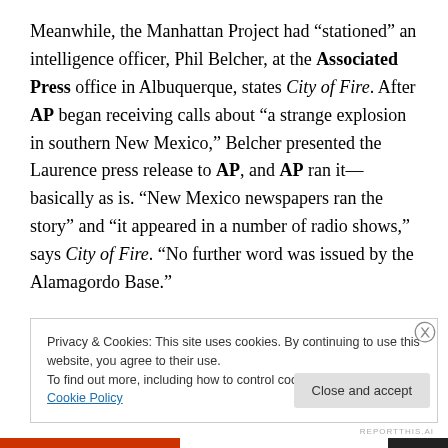Meanwhile, the Manhattan Project had “stationed” an intelligence officer, Phil Belcher, at the Associated Press office in Albuquerque, states City of Fire. After AP began receiving calls about “a strange explosion in southern New Mexico,” Belcher presented the Laurence press release to AP, and AP ran it—basically as is. “New Mexico newspapers ran the story” and “it appeared in a number of radio shows,” says City of Fire. “No further word was issued by the Alamagordo Base.”
Privacy & Cookies: This site uses cookies. By continuing to use this website, you agree to their use.
To find out more, including how to control cookies, see here: Cookie Policy